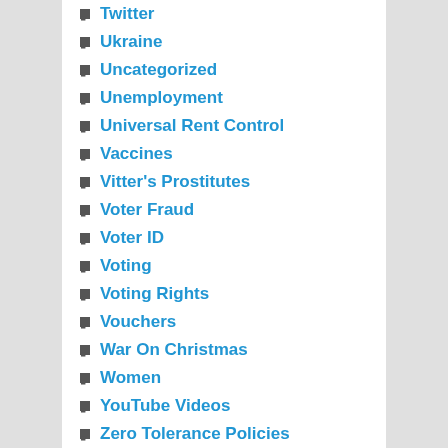Twitter
Ukraine
Uncategorized
Unemployment
Universal Rent Control
Vaccines
Vitter's Prostitutes
Voter Fraud
Voter ID
Voting
Voting Rights
Vouchers
War On Christmas
Women
YouTube Videos
Zero Tolerance Policies
META
Log in
Entries feed